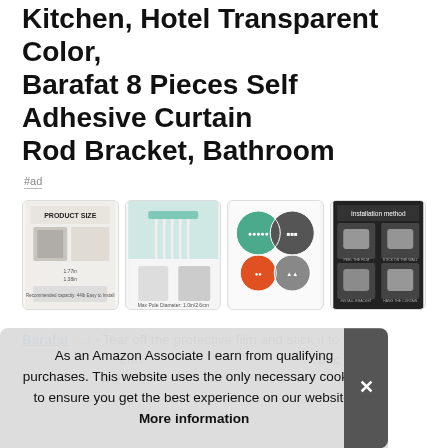Kitchen, Hotel Transparent Color, Barafat 8 Pieces Self Adhesive Curtain Rod Bracket, Bathroom
#ad
[Figure (photo): Four product images showing product size diagram, curtain rod brackets installed in a bathroom with hanging clothes, circular collage of product features, and installation method steps on dark background]
Barafat #ad - Tear off the protective film and stick it to the desired location. Fix the curtain rod bracket and hang the curtain. Removal method: remove the bracket, gently peel from the back, and it won't leave marks. The bracket is used for holding curtain rods...
As an Amazon Associate I earn from qualifying purchases. This website uses the only necessary cookies to ensure you get the best experience on our website. More information